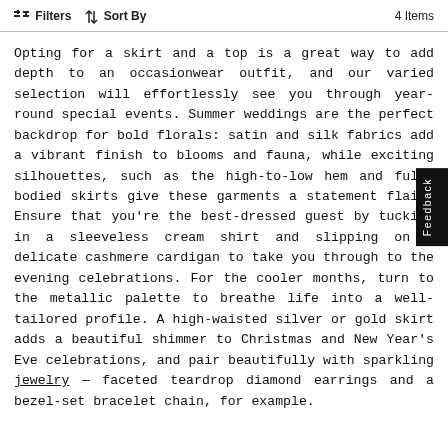Filters   Sort By   4 Items
Opting for a skirt and a top is a great way to add depth to an occasionwear outfit, and our varied selection will effortlessly see you through year-round special events. Summer weddings are the perfect backdrop for bold florals: satin and silk fabrics add a vibrant finish to blooms and fauna, while exciting silhouettes, such as the high-to-low hem and full-bodied skirts give these garments a statement flair. Ensure that you're the best-dressed guest by tucking in a sleeveless cream shirt and slipping on a delicate cashmere cardigan to take you through to the evening celebrations. For the cooler months, turn to the metallic palette to breathe life into a well-tailored profile. A high-waisted silver or gold skirt adds a beautiful shimmer to Christmas and New Year's Eve celebrations, and pair beautifully with sparkling jewelry — faceted teardrop diamond earrings and a bezel-set bracelet chain, for example.